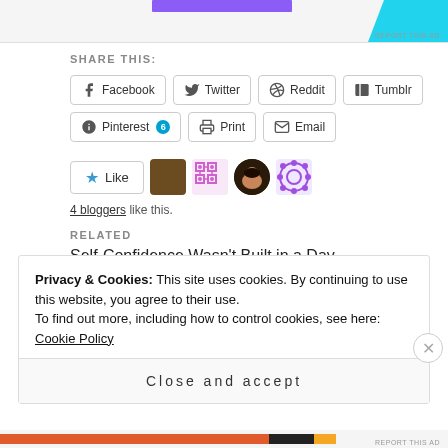[Figure (screenshot): Top advertisement area with purple bar and cyan shape]
SHARE THIS:
Facebook
Twitter
Reddit
Tumblr
Pinterest 6
Print
Email
[Figure (screenshot): Like button with star icon and 4 blogger avatars]
4 bloggers like this.
RELATED
Self-Confidence Wasn't Built in a Day
Privacy & Cookies: This site uses cookies. By continuing to use this website, you agree to their use. To find out more, including how to control cookies, see here: Cookie Policy
Close and accept